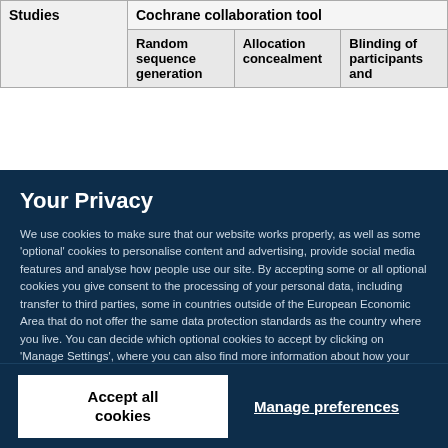| Studies | Cochrane collaboration tool |
| --- | --- |
|  | Random sequence generation | Allocation concealment | Blinding of participants and |
Your Privacy
We use cookies to make sure that our website works properly, as well as some 'optional' cookies to personalise content and advertising, provide social media features and analyse how people use our site. By accepting some or all optional cookies you give consent to the processing of your personal data, including transfer to third parties, some in countries outside of the European Economic Area that do not offer the same data protection standards as the country where you live. You can decide which optional cookies to accept by clicking on 'Manage Settings', where you can also find more information about how your personal data is processed. Further information can be found in our privacy policy.
Accept all cookies
Manage preferences